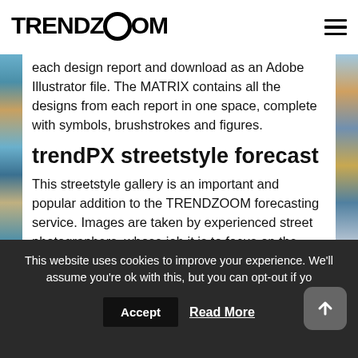TRENDZOOM
each design report and download as an Adobe Illustrator file. The MATRIX contains all the designs from each report in one space, complete with symbols, brushstrokes and figures.
trendPX streetstyle forecast
This streetstyle gallery is an important and popular addition to the TRENDZOOM forecasting service. Images are taken by experienced street photographers, whose job it is to focus on the most directional and forward-moving styles. These images
This website uses cookies to improve your experience. We'll assume you're ok with this, but you can opt-out if yo
Accept
Read More